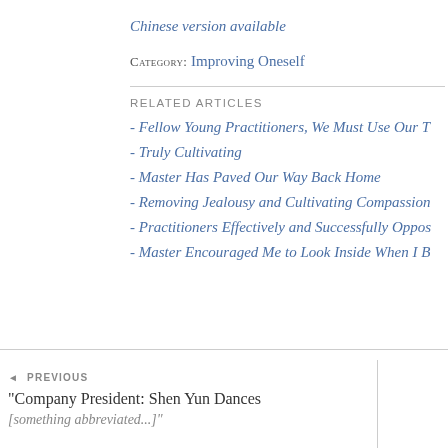Chinese version available
CATEGORY: Improving Oneself
RELATED ARTICLES
- Fellow Young Practitioners, We Must Use Our T
- Truly Cultivating
- Master Has Paved Our Way Back Home
- Removing Jealousy and Cultivating Compassion
- Practitioners Effectively and Successfully Oppos
- Master Encouraged Me to Look Inside When I B
◄ PREVIOUS
"Company President: Shen Yun Dances